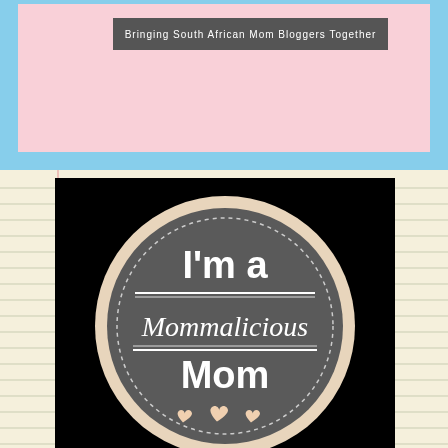Bringing South African Mom Bloggers Together
[Figure (logo): Circular badge on black background reading 'I'm a Mommalicious Mom' with decorative hearts, on a lined paper background]